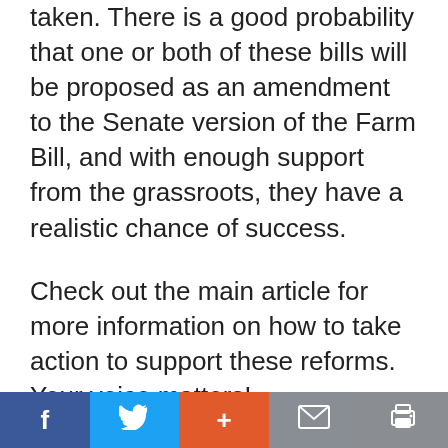taken. There is a good probability that one or both of these bills will be proposed as an amendment to the Senate version of the Farm Bill, and with enough support from the grassroots, they have a realistic chance of success.
Check out the main article for more information on how to take action to support these reforms. Your voice matters!
This article appeared in Wise Traditions in Food, Farming and the Healing Arts, the quarterly magazine of the Weston A. Price Foundation, Summer 2018.
f | [twitter] | + | [mail] | [print]